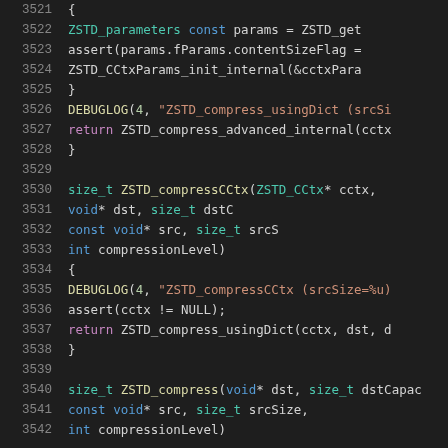[Figure (screenshot): Source code listing showing C code for ZSTD compression functions, lines 3521-3542, with syntax highlighting on a dark background]